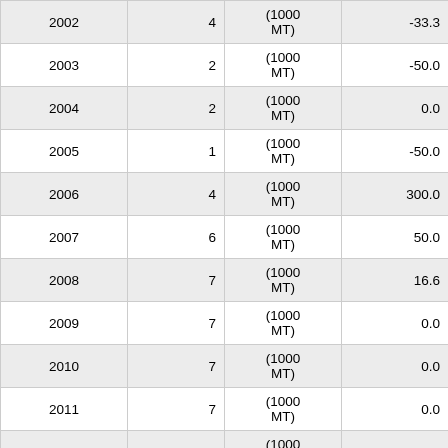| Year | Count | Unit | Change |
| --- | --- | --- | --- |
| 2002 | 4 | (1000 MT) | -33.3 |
| 2003 | 2 | (1000 MT) | -50.0 |
| 2004 | 2 | (1000 MT) | 0.0 |
| 2005 | 1 | (1000 MT) | -50.0 |
| 2006 | 4 | (1000 MT) | 300.0 |
| 2007 | 6 | (1000 MT) | 50.0 |
| 2008 | 7 | (1000 MT) | 16.6 |
| 2009 | 7 | (1000 MT) | 0.0 |
| 2010 | 7 | (1000 MT) | 0.0 |
| 2011 | 7 | (1000 MT) | 0.0 |
| 2012 | 7 | (1000 MT) | 0.0 |
| 2013 | 7 | (1000 MT) | 0.0 |